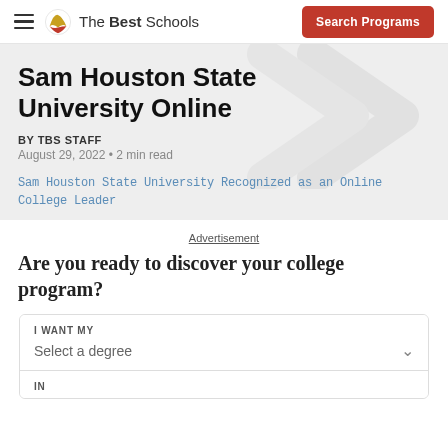The Best Schools — Search Programs
Sam Houston State University Online
BY TBS STAFF
August 29, 2022 • 2 min read
Sam Houston State University Recognized as an Online College Leader
Advertisement
Are you ready to discover your college program?
I WANT MY
Select a degree
IN